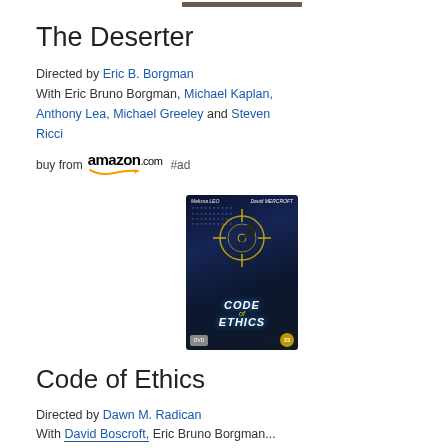[Figure (photo): Top portion of a movie cover or still, cropped at top of page]
The Deserter
Directed by Eric B. Borgman
With Eric Bruno Borgman, Michael Kaplan, Anthony Lea, Michael Greeley and Steven Ricci
[Figure (logo): buy from amazon.com #ad]
[Figure (photo): DVD cover for 'Code of Ethics' showing dark background with crosshair graphic and city scene. Actors listed: Melissa Leo, David Mercroft]
Code of Ethics
Directed by Dawn M. Radican
With David Boscroft, Eric Bruno Borgman...